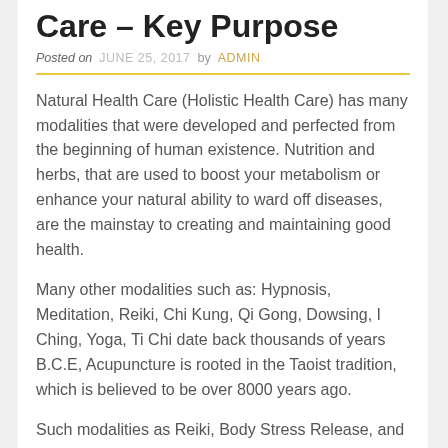Care – Key Purpose
Posted on JUNE 25, 2017 by ADMIN
Natural Health Care (Holistic Health Care) has many modalities that were developed and perfected from the beginning of human existence. Nutrition and herbs, that are used to boost your metabolism or enhance your natural ability to ward off diseases, are the mainstay to creating and maintaining good health.
Many other modalities such as: Hypnosis, Meditation, Reiki, Chi Kung, Qi Gong, Dowsing, I Ching, Yoga, Ti Chi date back thousands of years B.C.E, Acupuncture is rooted in the Taoist tradition, which is believed to be over 8000 years ago.
Such modalities as Reiki, Body Stress Release, and other energy transmuting techniques are valuable tools for practitioners to provide non-invasive and natural health care remedies. Reiki was discovered by Dr. Usui